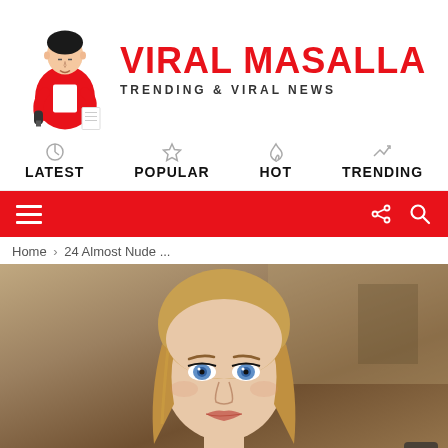[Figure (logo): Viral Masalla logo: illustration of a person in red holding a microphone and papers, with bold red text 'VIRAL MASALLA' and subtitle 'TRENDING & VIRAL NEWS']
LATEST  POPULAR  HOT  TRENDING
[Figure (screenshot): Red navigation toolbar with hamburger menu icon on left and share/search icons on right]
Home › 24 Almost Nude ...
[Figure (photo): Portrait photo of a young blonde woman with blue eyes against a blurred warm brown background]